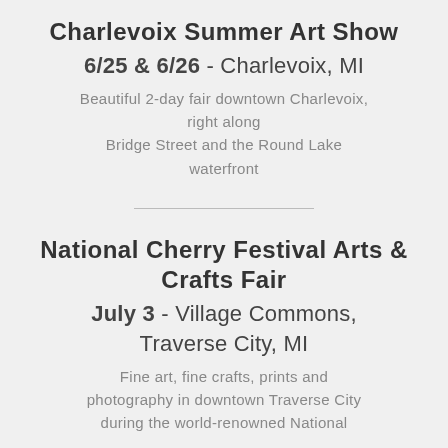Charlevoix Summer Art Show
6/25 & 6/26 - Charlevoix, MI
Beautiful 2-day fair downtown Charlevoix, right along Bridge Street and the Round Lake waterfront
National Cherry Festival Arts & Crafts Fair
July 3 - Village Commons, Traverse City, MI
Fine art, fine crafts, prints and photography in downtown Traverse City during the world-renowned National